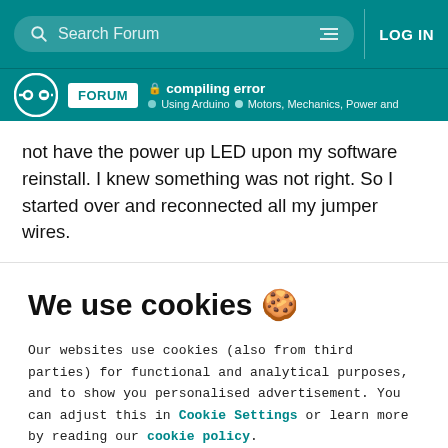Search Forum   LOG IN
FORUM compiling error Using Arduino Motors, Mechanics, Power and
not have the power up LED upon my software reinstall. I knew something was not right. So I started over and reconnected all my jumper wires.
We use cookies 🍪
Our websites use cookies (also from third parties) for functional and analytical purposes, and to show you personalised advertisement. You can adjust this in Cookie Settings or learn more by reading our cookie policy.
ONLY REQUIRED   ACCEPT ALL